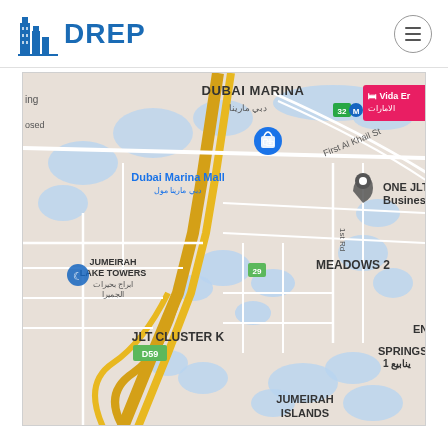[Figure (logo): DREP logo with blue building icon and blue text DREP]
[Figure (map): Google Maps screenshot showing Dubai Marina, JLT (Jumeirah Lake Towers), Meadows 2, JLT Cluster K, Dubai Marina Mall, ONE JLT One Business Centre DMCC, ENOC-1086, Springs 1, Jumeirah Islands, First Al Khail St, D59 road marker, Vida Emirates (partially visible)]